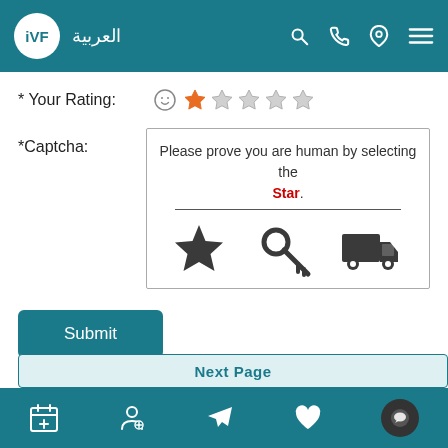IVF | العربية
* Your Rating: [1 star selected out of 5]
*Captcha: Please prove you are human by selecting the Star.
[Figure (screenshot): Captcha widget showing three icons: a star, a key, and a delivery truck. User must select the star to prove they are human.]
Submit
Next Page